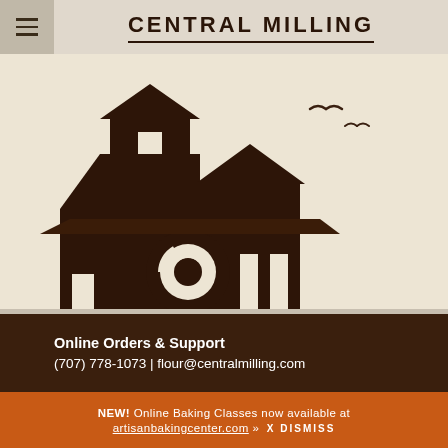CENTRAL MILLING
[Figure (illustration): Central Milling logo illustration: dark brown silhouette of a grain mill/barn building with a circular mill wheel, set against a light beige/cream background with bird silhouettes in the sky]
Online Orders & Support
(707) 778-1073 | flour@centralmilling.com
NEW! Online Baking Classes now available at artisanbakingcenter.com » X DISMISS